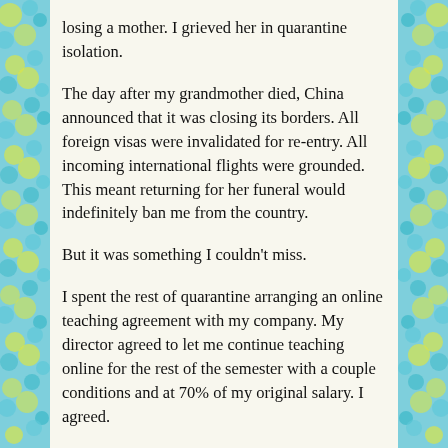losing a mother. I grieved her in quarantine isolation.
The day after my grandmother died, China announced that it was closing its borders. All foreign visas were invalidated for re-entry. All incoming international flights were grounded. This meant returning for her funeral would indefinitely ban me from the country.
But it was something I couldn't miss.
I spent the rest of quarantine arranging an online teaching agreement with my company. My director agreed to let me continue teaching online for the rest of the semester with a couple conditions and at 70% of my original salary. I agreed.
Once I was released from quarantine, I had 5 days to cancel my rent contract, move everything out of my